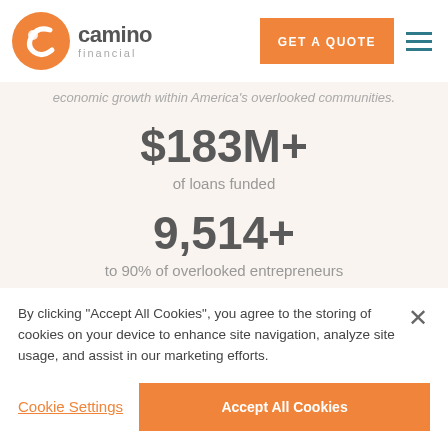[Figure (logo): Camino Financial logo with orange swirl icon and company name]
economic growth within America's overlooked communities.
$183M+
of loans funded
9,514+
to 90% of overlooked entrepreneurs
$101M+
in incremental revenue for borrowers
$10M+
By clicking "Accept All Cookies", you agree to the storing of cookies on your device to enhance site navigation, analyze site usage, and assist in our marketing efforts.
Cookie Settings
Accept All Cookies